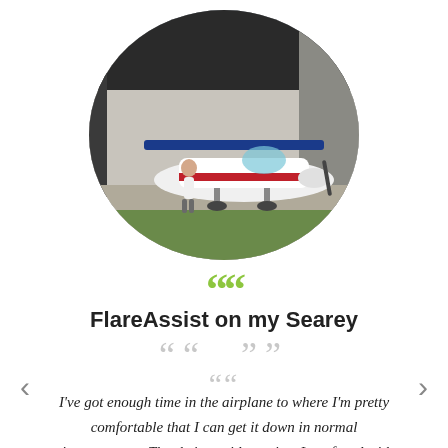[Figure (photo): Oval-cropped photo of a small light aircraft (Searey amphibious plane, white with red and blue markings) being pulled out of a metal hangar by a person, on a concrete apron with grass visible.]
““
FlareAssist on my Searey
I've got enough time in the airplane to where I'm pretty comfortable that I can get it down in normal circumstances. That being said, anytime I am faced with a challenge, I am truly thankful